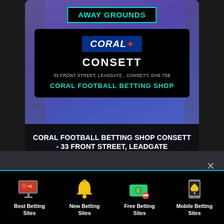[Figure (screenshot): Coral Football Betting Shop Consett card with Away Grounds banner, Coral logo, address, and shop label on purple background]
CORAL FOOTBALL BETTING SHOP CONSETT - 33 FRONT STREET, LEADGATE
[Figure (screenshot): Partial second card with Coral branding visible]
We use cookies to ensure that we give you the best experience on our website. If you continue to use this site we will assume that you are happy with it.
Ok
[Figure (infographic): Footer with four betting site category icons: Best Betting Sites, New Betting Sites, Free Betting Sites, Mobile Betting Sites]